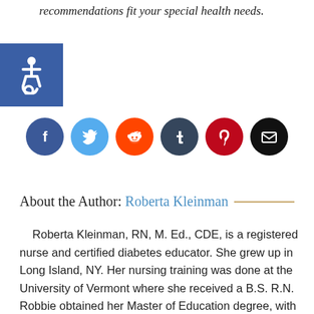recommendations fit your special health needs.
[Figure (infographic): Blue accessibility (wheelchair) icon in a blue square]
[Figure (infographic): Row of social media sharing icons: Facebook (dark blue circle), Twitter (light blue circle), Reddit (orange circle), Tumblr (dark teal circle), Pinterest (dark red circle), Email (black circle)]
About the Author: Roberta Kleinman
Roberta Kleinman, RN, M. Ed., CDE, is a registered nurse and certified diabetes educator. She grew up in Long Island, NY. Her nursing training was done at the University of Vermont where she received a B.S. R.N. Robbie obtained her Master of Education degree, with a specialty in exercise physiology, from Georgia State University.